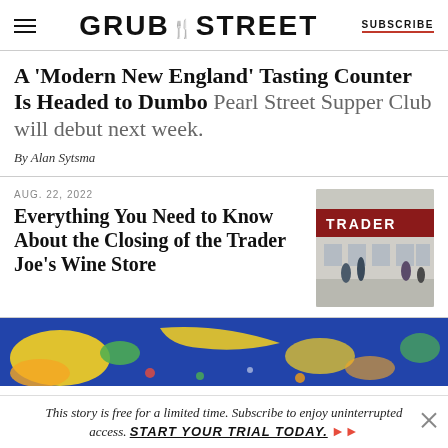GRUB STREET | SUBSCRIBE
A ‘Modern New England’ Tasting Counter Is Headed to Dumbo Pearl Street Supper Club will debut next week.
By Alan Sytsma
AUG. 22, 2022
Everything You Need to Know About the Closing of the Trader Joe’s Wine Store
[Figure (photo): Exterior of a Trader Joe's wine store with a red sign and people outside]
[Figure (illustration): Colorful illustrated banner with food items on a blue background]
This story is free for a limited time. Subscribe to enjoy uninterrupted access. START YOUR TRIAL TODAY.